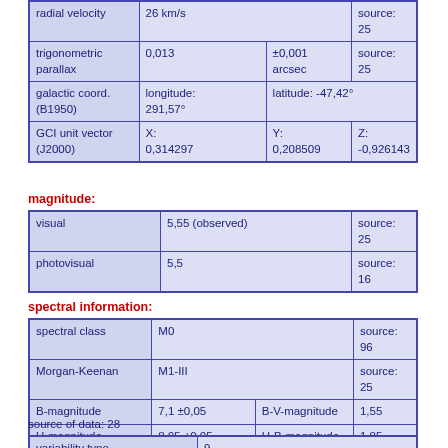| property | value | extra | source |
| --- | --- | --- | --- |
| radial velocity | 26 km/s |  | source: 25 |
| trigonometric parallax | 0,013 | ±0,001 arcsec | source: 25 |
| galactic coord. (B1950) | longitude: 291,57° | latitude: -47,42° |  |
| GCI unit vector (J2000) | X: 0,314297 | Y: 0,208509 | Z: -0,926143 |
magnitude:
| property | value | source |
| --- | --- | --- |
| visual | 5,55 (observed) | source: 25 |
| photovisual | 5,5 | source: 16 |
spectral information:
| property | value | extra1 | extra2 |
| --- | --- | --- | --- |
| spectral class | M0 |  | source: 96 |
| Morgan-Keenan | M1-III |  | source: 25 |
| B-magnitude | 7,1 ±0,05 | B-V-magnitude | 1,55 |
| U-magnitude | 8,95 ±0,05 | U-B-magnitude | 1,85 |
variability information:
source of data: 28
| property | value |
| --- | --- |
| variability type | 9 |